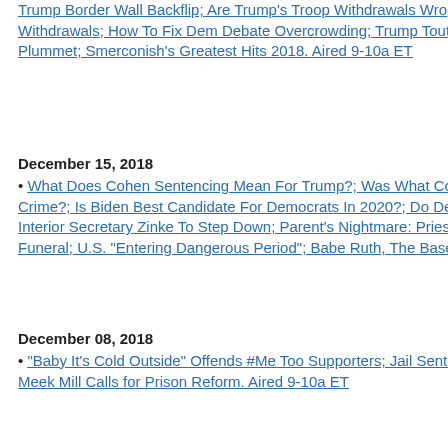Trump Border Wall Backflip; Are Trump's Troop Withdrawals Wro Withdrawals; How To Fix Dem Debate Overcrowding; Trump Tout Plummet; Smerconish's Greatest Hits 2018. Aired 9-10a ET
December 15, 2018
What Does Cohen Sentencing Mean For Trump?; Was What Cohe Crime?; Is Biden Best Candidate For Democrats In 2020?; Do Dem Interior Secretary Zinke To Step Down; Parent's Nightmare: Priest Funeral; U.S. "Entering Dangerous Period"; Babe Ruth, The Baseb
December 08, 2018
"Baby It's Cold Outside" Offends #Me Too Supporters; Jail Sente Meek Mill Calls for Prison Reform. Aired 9-10a ET